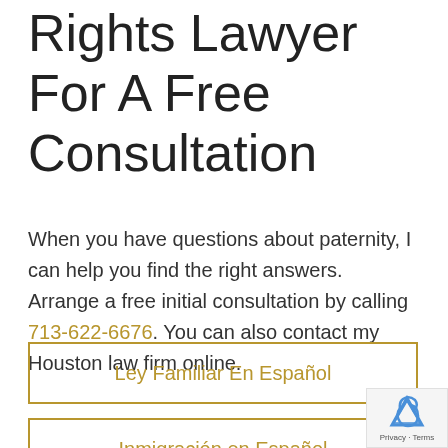Rights Lawyer For A Free Consultation
When you have questions about paternity, I can help you find the right answers. Arrange a free initial consultation by calling 713-622-6676. You can also contact my Houston law firm online.
Ley Familiar En Español
Inmigración en Español